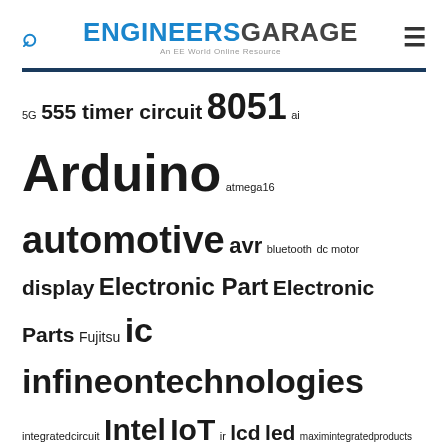ENGINEERS GARAGE – An EE World Online Resource
5G 555 timer circuit 8051 ai Arduino atmega16 automotive avr bluetooth dc motor display Electronic Part Electronic Parts Fujitsu ic infineontechnologies integratedcircuit Intel IoT ir lcd led maximintegratedproducts microchip microchiptechnology Microchip Technology microcontroller microcontrollers mosfet motor powermanagement Raspberry Pi remote renesaselectronics renesaselectronicscorporation Research samsung semiconductor sensor software